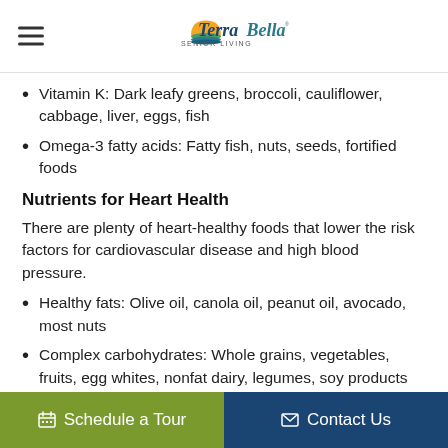TerraBella Senior Living
Vitamin K: Dark leafy greens, broccoli, cauliflower, cabbage, liver, eggs, fish
Omega-3 fatty acids: Fatty fish, nuts, seeds, fortified foods
Nutrients for Heart Health
There are plenty of heart-healthy foods that lower the risk factors for cardiovascular disease and high blood pressure.
Healthy fats: Olive oil, canola oil, peanut oil, avocado, most nuts
Complex carbohydrates: Whole grains, vegetables, fruits, egg whites, nonfat dairy, legumes, soy products
Omega-3 fatty acids: Fatty fish, nuts and seeds, plant-based oils, fortified foods
Schedule a Tour | Contact Us